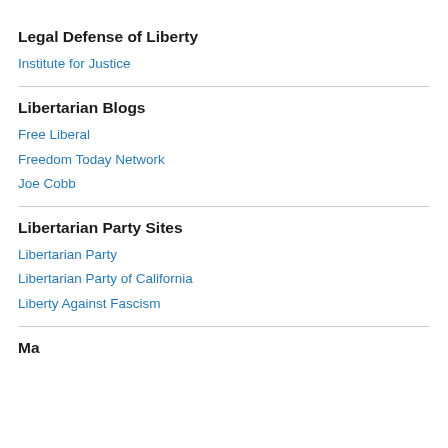Legal Defense of Liberty
Institute for Justice
Libertarian Blogs
Free Liberal
Freedom Today Network
Joe Cobb
Libertarian Party Sites
Libertarian Party
Libertarian Party of California
Liberty Against Fascism
Magazines